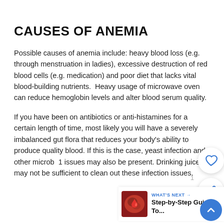CAUSES OF ANEMIA
Possible causes of anemia include: heavy blood loss (e.g. through menstruation in ladies), excessive destruction of red blood cells (e.g. medication) and poor diet that lacks vital blood-building nutrients.  Heavy usage of microwave oven can reduce hemoglobin levels and alter blood serum quality.
If you have been on antibiotics or anti-histamines for a certain length of time, most likely you will have a severely imbalanced gut flora that reduces your body's ability to produce quality blood. If this is the case, yeast infection and other microb  1 issues may also be present. Drinking juices may not be sufficient to clean out these infection issues.